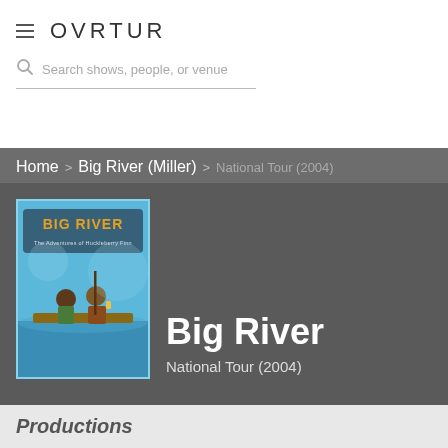OVRTUR
Search shows, people, or venue
Home > Big River (Miller) > National Tour (2004)
[Figure (illustration): Big River musical poster showing Huck Finn characters on a raft, blue water background, title text Big River: The Adventures of Huckleberry Finn]
Big River
National Tour (2004)
Productions